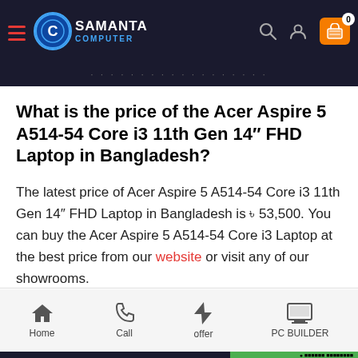Samanta Computer - Header navigation
What is the price of the Acer Aspire 5 A514-54 Core i3 11th Gen 14″ FHD Laptop in Bangladesh?
The latest price of Acer Aspire 5 A514-54 Core i3 11th Gen 14″ FHD Laptop in Bangladesh is ৳ 53,500. You can buy the Acer Aspire 5 A514-54 Core i3 Laptop at the best price from our website or visit any of our showrooms.
Home | Call | offer | PC BUILDER